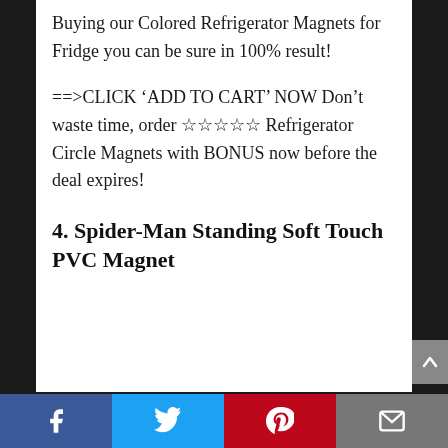Buying our Colored Refrigerator Magnets for Fridge you can be sure in 100% result!
==>CLICK ‘ADD TO CART’ NOW Don’t waste time, order ☆☆☆☆☆ Refrigerator Circle Magnets with BONUS now before the deal expires!
4. Spider-Man Standing Soft Touch PVC Magnet
Facebook | Twitter | Pinterest | Email